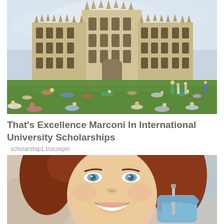[Figure (photo): Aerial view of a historic university building (Gothic architecture) with a large green lawn in front populated by many students sitting, lying, and walking on the grass on a summer day.]
That's Excellence Marconi In International University Scholarships
scholarship1.trucospin
[Figure (photo): Close-up portrait of a smiling young woman with red hair at a dental clinic, with a gloved hand holding a dental tool near her mouth.]